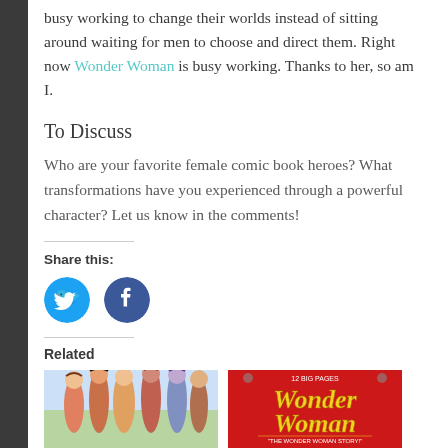busy working to change their worlds instead of sitting around waiting for men to choose and direct them. Right now Wonder Woman is busy working. Thanks to her, so am I.
To Discuss
Who are your favorite female comic book heroes? What transformations have you experienced through a powerful character? Let us know in the comments!
Share this:
[Figure (illustration): Twitter and Facebook social share icon buttons (blue circles with bird and f logos)]
Related
[Figure (photo): Comic book illustration of female characters]
[Figure (photo): Wonder Woman comic book cover with red background and yellow title text]